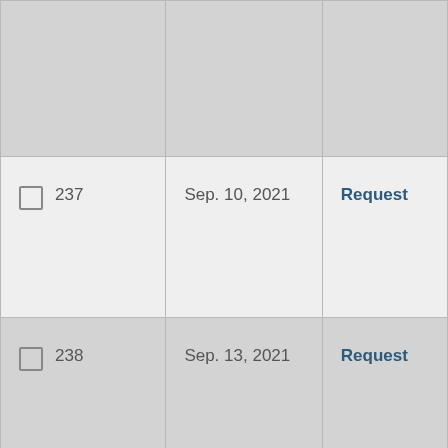|  | Date | Action |
| --- | --- | --- |
|  |  |  |
| ☐ 237 | Sep. 10, 2021 | Request |
| ☐ 238 | Sep. 13, 2021 | Request |